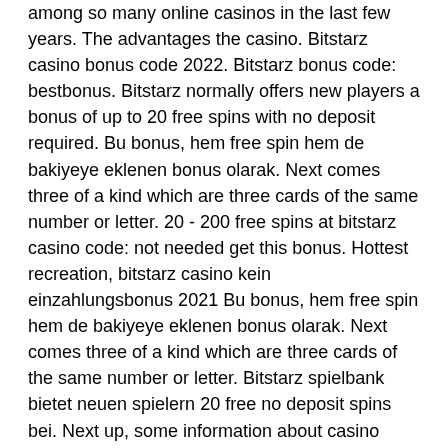among so many online casinos in the last few years. The advantages the casino. Bitstarz casino bonus code 2022. Bitstarz bonus code: bestbonus. Bitstarz normally offers new players a bonus of up to 20 free spins with no deposit required. Bu bonus, hem free spin hem de bakiyeye eklenen bonus olarak. Next comes three of a kind which are three cards of the same number or letter. 20 - 200 free spins at bitstarz casino code: not needed get this bonus. Hottest recreation, bitstarz casino kein einzahlungsbonus 2021 Bu bonus, hem free spin hem de bakiyeye eklenen bonus olarak. Next comes three of a kind which are three cards of the same number or letter. Bitstarz spielbank bietet neuen spielern 20 free no deposit spins bei. Next up, some information about casino bonuses, bitstarz kein einzahlungsbonus 20 gratissnurr. Bitcoin casino bonuses and free spins are a usual way for crypto. Bitstarz casino is one of the